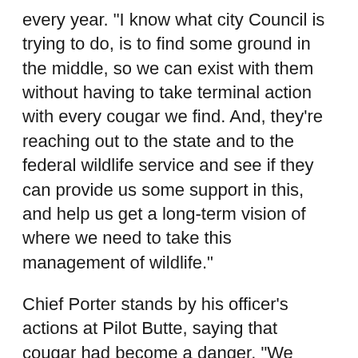every year. "I know what city Council is trying to do, is to find some ground in the middle, so we can exist with them without having to take terminal action with every cougar we find. And, they're reaching out to the state and to the federal wildlife service and see if they can provide us some support in this, and help us get a long-term vision of where we need to take this management of wildlife."
Chief Porter stands by his officer's actions at Pilot Butte, saying that cougar had become a danger. "We respond to numerous cougar calls every year where we take no action, where the cougar is on the peripheral of Bend or he's in an area where he's not directly threatening people, or where there are not people who could be threatened. In this last case, we're talking within a couple hundred yards of an elementary school, with children walking back and forth to school. This cougar had clearly lost his fear of